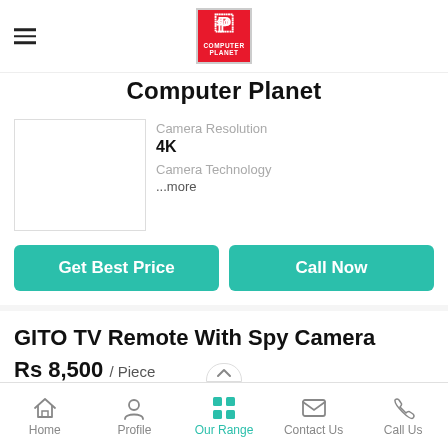[Figure (logo): Computer Planet logo — red square with white P icon and text COMPUTER PLANET]
Computer Planet
Camera Resolution
4K
Camera Technology
...more
Get Best Price
Call Now
GITO TV Remote With Spy Camera
Rs 8,500 / Piece
Minimum Order Quantity
Home  Profile  Our Range  Contact Us  Call Us